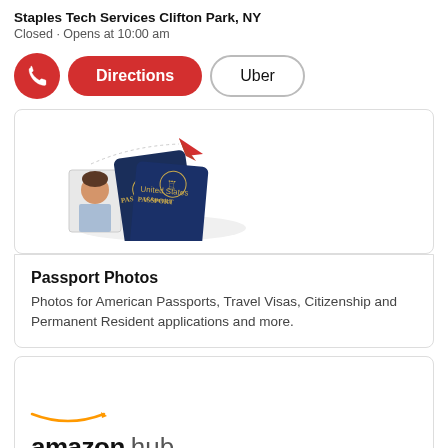Staples Tech Services Clifton Park, NY
Closed · Opens at 10:00 am
[Figure (screenshot): Button row with phone icon (red circle), Directions button (red pill), and Uber button (outlined pill)]
[Figure (illustration): Passport photo illustration: woman's headshot, two navy blue US passports, red paper airplane]
Passport Photos
Photos for American Passports, Travel Visas, Citizenship and Permanent Resident applications and more.
[Figure (logo): amazon hub logo with Amazon smile underline]